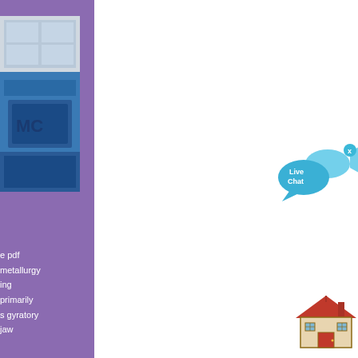[Figure (photo): Photo of industrial machinery with blue equipment and partial text 'MC' visible, against a building with windows]
e pdf
metallurgy
ing
primarily
s gyratory
jaw
[Figure (illustration): Live Chat speech bubble icon in blue with a fish shape and an X close button]
[Figure (illustration): House icon in red and brown colors representing a home/building]